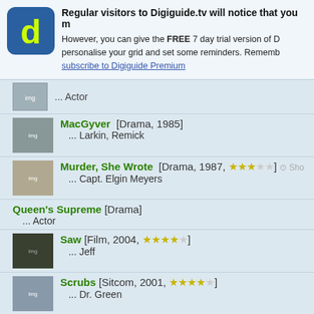[Figure (logo): Digiguide app logo - blue rounded square with yellow 'd']
Regular visitors to Digiguide.tv will notice that you m
However, you can give the FREE 7 day trial version of D personalise your grid and set some reminders. Rememb subscribe to Digiguide Premium
... Actor (truncated at top)
MacGyver [Drama, 1985] ... Larkin, Remick
Murder, She Wrote [Drama, 1987, ★★★☆☆] Sho ... Capt. Elgin Meyers
Queen's Supreme [Drama] ... Actor
Saw [Film, 2004, ★★★★☆] ... Jeff
Scrubs [Sitcom, 2001, ★★★★☆] ... Dr. Green
Seinfeld [Sitcom, 1989, ★★★★★] ... Eddie
T.J. Hooker [Drama] ... Carl Buddinger
Takedown [Film, 2000, ★★☆☆☆]